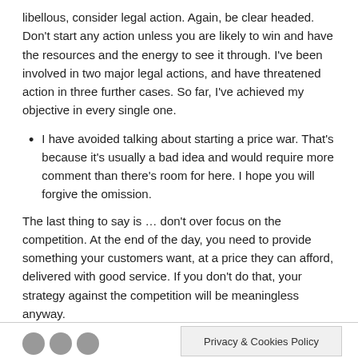libellous, consider legal action. Again, be clear headed. Don't start any action unless you are likely to win and have the resources and the energy to see it through. I've been involved in two major legal actions, and have threatened action in three further cases. So far, I've achieved my objective in every single one.
I have avoided talking about starting a price war. That's because it's usually a bad idea and would require more comment than there's room for here. I hope you will forgive the omission.
The last thing to say is … don't over focus on the competition. At the end of the day, you need to provide something your customers want, at a price they can afford, delivered with good service. If you don't do that, your strategy against the competition will be meaningless anyway.
Privacy & Cookies Policy